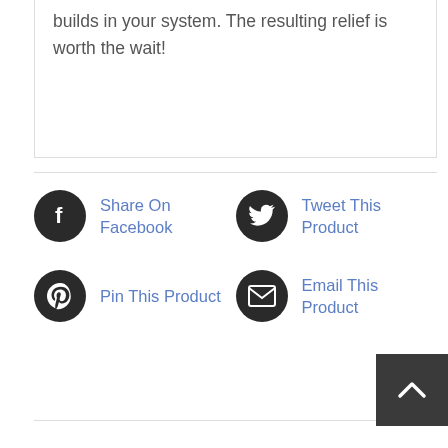builds in your system. The resulting relief is worth the wait!
Share On Facebook
Tweet This Product
Pin This Product
Email This Product